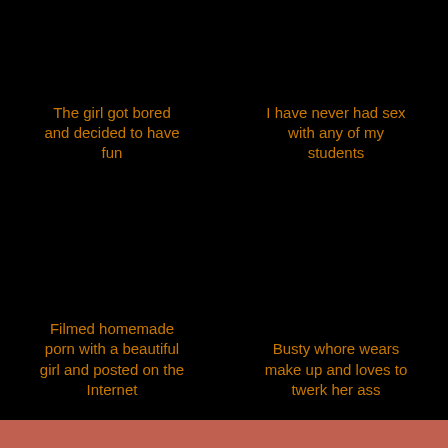The girl got bored and decided to have fun
I have never had sex with any of my students
Filmed homemade porn with a beautiful girl and posted on the Internet
Busty whore wears make up and loves to twerk her ass